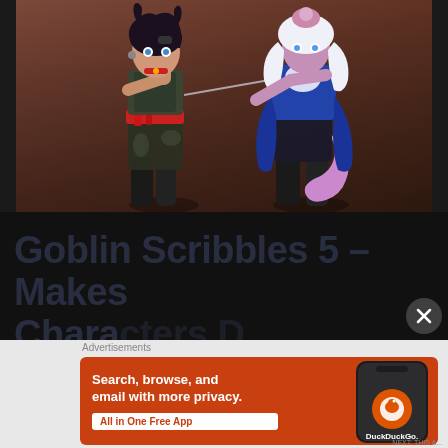[Figure (illustration): Two animated game characters on a reddish-brown background: left character is a dark-haired goblin/punk girl with arm raised wearing torn clothing; right character is a white/silver-haired female character in blue outfit holding a sword, with a purple tail.]
Goblin Scribbles 5 - Makes Characters...
[Figure (other): DuckDuckGo advertisement banner with orange background. Text: 'Search, browse, and email with more privacy. All in One Free App' with DuckDuckGo logo on a smartphone image.]
Advertisements
NEXT: THIS A...